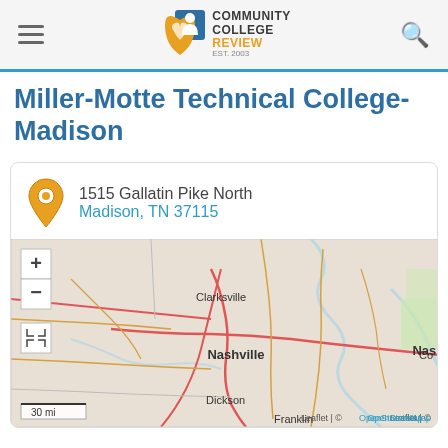Community College Review — EST. 2003
Miller-Motte Technical College-Madison
1515 Gallatin Pike North
Madison, TN 37115
[Figure (map): OpenStreetMap showing Nashville, TN area including Clarksville, Dickson, Franklin. Zoom controls (+/-) and fullscreen button visible. Scale: 30 mi. Attribution: Leaflet | © OpenStreetMap]